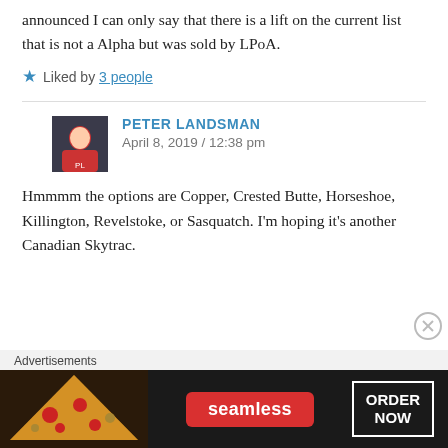announced I can only say that there is a lift on the current list that is not a Alpha but was sold by LPoA.
Liked by 3 people
PETER LANDSMAN
April 8, 2019 / 12:38 pm
Hmmmm the options are Copper, Crested Butte, Horseshoe, Killington, Revelstoke, or Sasquatch. I'm hoping it's another Canadian Skytrac.
[Figure (infographic): Seamless food ordering advertisement banner with pizza image, red Seamless logo pill, and ORDER NOW button on dark background]